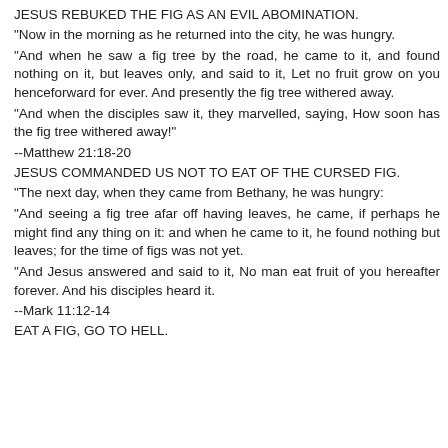JESUS REBUKED THE FIG AS AN EVIL ABOMINATION.
"Now in the morning as he returned into the city, he was hungry.
"And when he saw a fig tree by the road, he came to it, and found nothing on it, but leaves only, and said to it, Let no fruit grow on you henceforward for ever. And presently the fig tree withered away.
"And when the disciples saw it, they marvelled, saying, How soon has the fig tree withered away!"
--Matthew 21:18-20
JESUS COMMANDED US NOT TO EAT OF THE CURSED FIG.
"The next day, when they came from Bethany, he was hungry:
"And seeing a fig tree afar off having leaves, he came, if perhaps he might find any thing on it: and when he came to it, he found nothing but leaves; for the time of figs was not yet.
"And Jesus answered and said to it, No man eat fruit of you hereafter forever. And his disciples heard it.
--Mark 11:12-14
EAT A FIG, GO TO HELL.